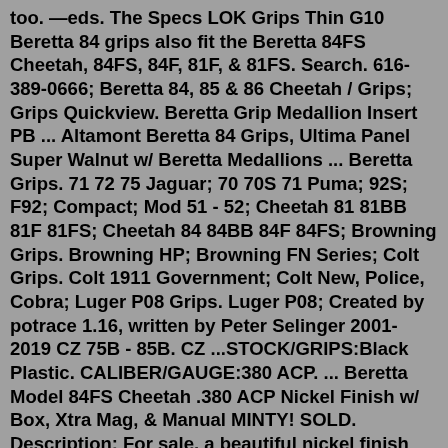too. —eds. The Specs LOK Grips Thin G10 Beretta 84 grips also fit the Beretta 84FS Cheetah, 84FS, 84F, 81F, & 81FS. Search. 616-389-0666; Beretta 84, 85 & 86 Cheetah / Grips; Grips Quickview. Beretta Grip Medallion Insert PB ... Altamont Beretta 84 Grips, Ultima Panel Super Walnut w/ Beretta Medallions ... Beretta Grips. 71 72 75 Jaguar; 70 70S 71 Puma; 92S; F92; Compact; Mod 51 - 52; Cheetah 81 81BB 81F 81FS; Cheetah 84 84BB 84F 84FS; Browning Grips. Browning HP; Browning FN Series; Colt Grips. Colt 1911 Government; Colt New, Police, Cobra; Luger P08 Grips. Luger P08; Created by potrace 1.16, written by Peter Selinger 2001-2019 CZ 75B - 85B. CZ ...STOCK/GRIPS:Black Plastic. CALIBER/GAUGE:380 ACP. ... Beretta Model 84FS Cheetah .380 ACP Nickel Finish w/ Box, Xtra Mag, & Manual MINTY! SOLD. Description: For sale, a beautiful nickel finish Beretta 84FS Cheetah chambered in .380 acp complete with the original plastic case, extra mag, and manual. The Model 84 Beretta Cheetah is a great little ...BERETTA 92